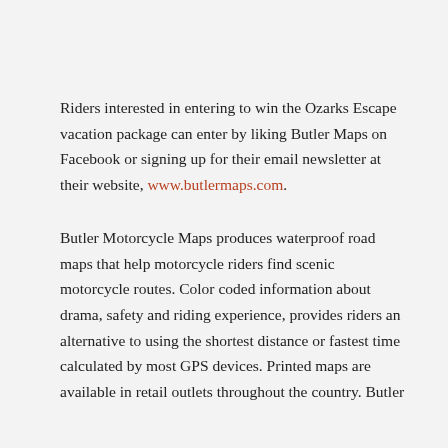Riders interested in entering to win the Ozarks Escape vacation package can enter by liking Butler Maps on Facebook or signing up for their email newsletter at their website, www.butlermaps.com.
Butler Motorcycle Maps produces waterproof road maps that help motorcycle riders find scenic motorcycle routes. Color coded information about drama, safety and riding experience, provides riders an alternative to using the shortest distance or fastest time calculated by most GPS devices. Printed maps are available in retail outlets throughout the country. Butler